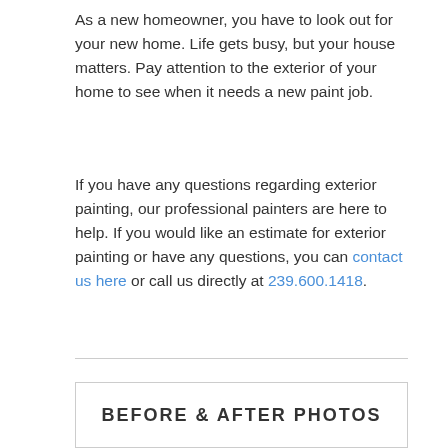As a new homeowner, you have to look out for your new home. Life gets busy, but your house matters. Pay attention to the exterior of your home to see when it needs a new paint job.
If you have any questions regarding exterior painting, our professional painters are here to help. If you would like an estimate for exterior painting or have any questions, you can contact us here or call us directly at 239.600.1418.
[Figure (other): A bordered box with bold text reading 'BEFORE & AFTER PHOTOS']